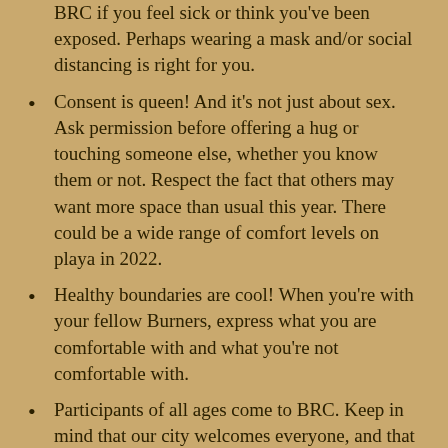BRC if you feel sick or think you've been exposed. Perhaps wearing a mask and/or social distancing is right for you.
Consent is queen! And it's not just about sex. Ask permission before offering a hug or touching someone else, whether you know them or not. Respect the fact that others may want more space than usual this year. There could be a wide range of comfort levels on playa in 2022.
Healthy boundaries are cool! When you're with your fellow Burners, express what you are comfortable with and what you're not comfortable with.
Participants of all ages come to BRC. Keep in mind that our city welcomes everyone, and that includes the more vulnerable in our community such as the elderly and immune-compromised.
Vaccination status, health status, concern about safety precautions, or COVID-related disagreements are not justification to treat others with disrespect.